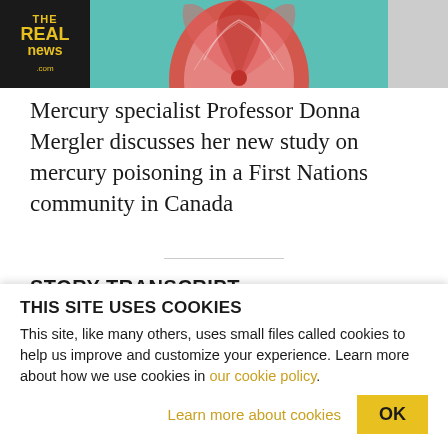[Figure (screenshot): Website header with The Real News logo on dark background on the left, decorative fan artwork on teal center, and gray section on the right]
Mercury specialist Professor Donna Mergler discusses her new study on mercury poisoning in a First Nations community in Canada
STORY TRANSCRIPT
THIS SITE USES COOKIES
This site, like many others, uses small files called cookies to help us improve and customize your experience. Learn more about how we use cookies in our cookie policy.
Learn more about cookies